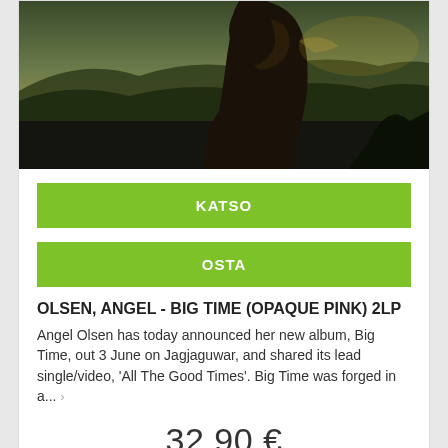[Figure (photo): Silhouette of a person with long hair against a mountainous landscape background with warm sunset lighting]
KATSO
OSTA
OLSEN, ANGEL - BIG TIME (OPAQUE PINK) 2LP
Angel Olsen has today announced her new album, Big Time, out 3 June on Jagjaguwar, and shared its lead single/video, 'All The Good Times'. Big Time was forged in a...
32,90 €